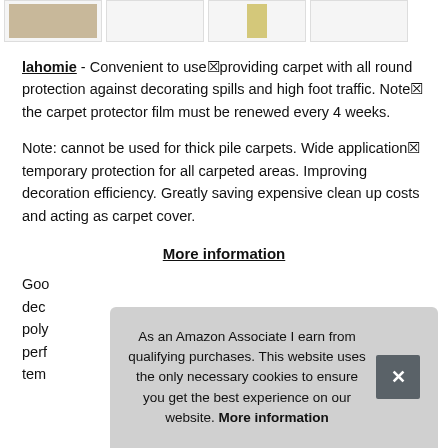[Figure (other): Row of four product thumbnail images at top of page]
lahomie - Convenient to use providing carpet with all round protection against decorating spills and high foot traffic. Note the carpet protector film must be renewed every 4 weeks.
Note: cannot be used for thick pile carpets. Wide application temporary protection for all carpeted areas. Improving decoration efficiency. Greatly saving expensive clean up costs and acting as carpet cover.
More information
Goo dec poly perf tem
As an Amazon Associate I earn from qualifying purchases. This website uses the only necessary cookies to ensure you get the best experience on our website. More information